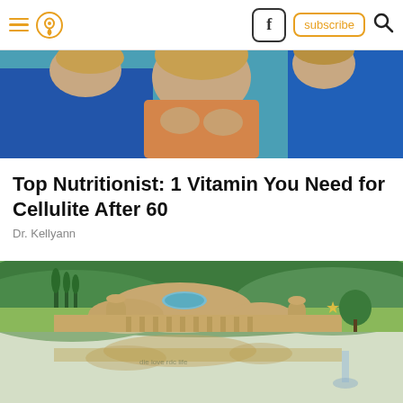Navigation bar with hamburger menu, location icon, Facebook icon, subscribe button, and search icon
[Figure (photo): Partial image of a woman in a blue jacket on a teal/blue background, upper portion cropped]
Top Nutritionist: 1 Vitamin You Need for Cellulite After 60
Dr. Kellyann
[Figure (photo): Aerial view of a distinctive curved dome-shaped building complex surrounded by lush green hills and landscape, with a partially mirrored/reflected lower half of the image]